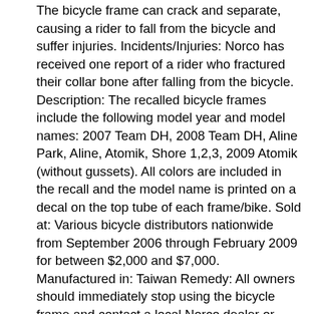The bicycle frame can crack and separate, causing a rider to fall from the bicycle and suffer injuries. Incidents/Injuries: Norco has received one report of a rider who fractured their collar bone after falling from the bicycle. Description: The recalled bicycle frames include the following model year and model names: 2007 Team DH, 2008 Team DH, Aline Park, Aline, Atomik, Shore 1,2,3, 2009 Atomik (without gussets). All colors are included in the recall and the model name is printed on a decal on the top tube of each frame/bike. Sold at: Various bicycle distributors nationwide from September 2006 through February 2009 for between $2,000 and $7,000. Manufactured in: Taiwan Remedy: All owners should immediately stop using the bicycle frame and contact a local Norco dealer or Norco directly for information regarding receiving a possible replacement frame. Consumer Contact: For additional information, contact your local Norco dealer or call (800) 663-8916 between 8:30 a.m. and 5 p.m. Monday through Friday PT or visit